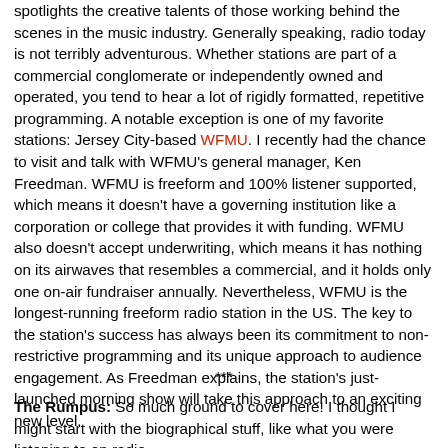spotlights the creative talents of those working behind the scenes in the music industry. Generally speaking, radio today is not terribly adventurous. Whether stations are part of a commercial conglomerate or independently owned and operated, you tend to hear a lot of rigidly formatted, repetitive programming. A notable exception is one of my favorite stations: Jersey City-based WFMU. I recently had the chance to visit and talk with WFMU's general manager, Ken Freedman. WFMU is freeform and 100% listener supported, which means it doesn't have a governing institution like a corporation or college that provides it with funding. WFMU also doesn't accept underwriting, which means it has nothing on its airwaves that resembles a commercial, and it holds only one on-air fundraiser annually. Nevertheless, WFMU is the longest-running freeform radio station in the US. The key to the station's success has always been its commitment to non-restrictive programming and its unique approach to audience engagement. As Freedman explains, the station's just-launched morning show will take this approach to an exciting new level.
***
The Rumpus: So much ground to cover here! I thought I might start with the biographical stuff, like what you were listening to on radio